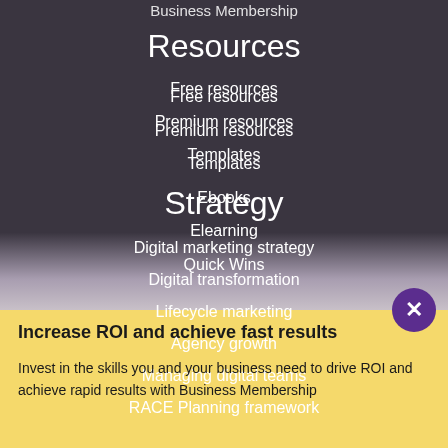Business Membership
Resources
Free resources
Premium resources
Templates
Ebooks
Elearning
Quick Wins
Strategy
Digital marketing strategy
Digital transformation
Lifecycle marketing
Agency growth
Managing digital teams
RACE Planning framework
Increase ROI and achieve fast results
Invest in the skills you and your business need to drive ROI and achieve rapid results with Business Membership